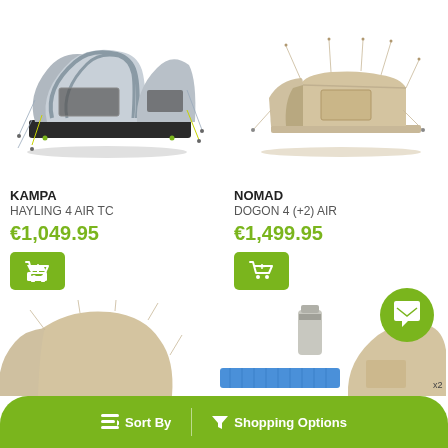[Figure (photo): Kampa Hayling 4 Air TC inflatable tunnel tent in grey and black on white background]
[Figure (photo): Nomad Dogon 4 (+2) Air tent in beige/sand color on white background]
KAMPA
HAYLING 4 AIR TC
€1,049.95
NOMAD
DOGON 4 (+2) AIR
€1,499.95
[Figure (photo): Bottom row: partial tent and camping gear images]
Sort By
Shopping Options